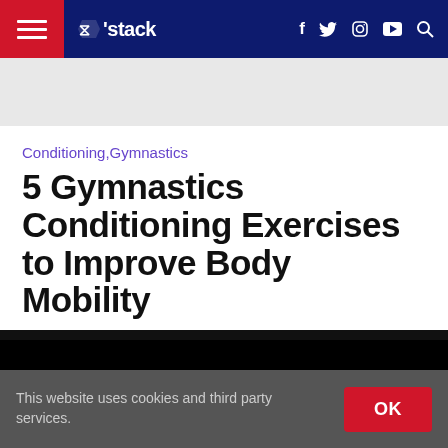stack — navigation bar with hamburger menu, logo, social icons (f, twitter, instagram, youtube), search
[Figure (other): Advertisement/banner placeholder area (gray background)]
Conditioning,Gymnastics
5 Gymnastics Conditioning Exercises to Improve Body Mobility
By STACK   Published On: 2017-12-02
[Figure (photo): Hero image area — black/dark background, article photo]
This website uses cookies and third party services.